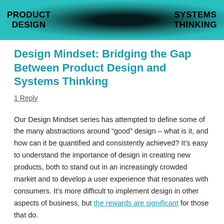[Figure (illustration): Banner image with teal/cyan background, dark silhouette in center, bold black text 'PRODUCT DESIGN' on left and 'SYSTEMS THINKING' on right]
Design Mindset: Bridging the Gap Between Product Design and Systems Thinking
1 Reply
Our Design Mindset series has attempted to define some of the many abstractions around “good” design – what is it, and how can it be quantified and consistently achieved? It’s easy to understand the importance of design in creating new products, both to stand out in an increasingly crowded market and to develop a user experience that resonates with consumers. It’s more difficult to implement design in other aspects of business, but the rewards are significant for those that do.